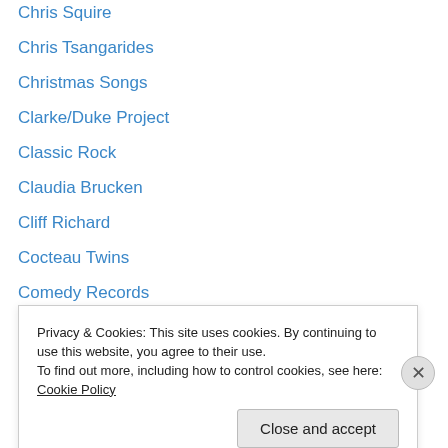Chris Squire
Chris Tsangarides
Christmas Songs
Clarke/Duke Project
Classic Rock
Claudia Brucken
Cliff Richard
Cocteau Twins
Comedy Records
Conspiracy Theories
Courtney Pine
Crap Albums
Crap Cover Versions
Crap Lyrics
Privacy & Cookies: This site uses cookies. By continuing to use this website, you agree to their use.
To find out more, including how to control cookies, see here: Cookie Policy
Close and accept